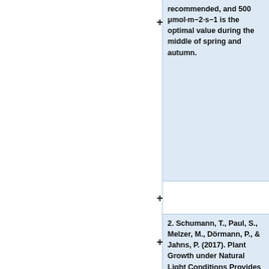recommended, and 500 μmol·m−2·s−1 is the optimal value during the middle of spring and autumn.
2. Schumann, T., Paul, S., Melzer, M., Dörmann, P., & Jahns, P. (2017). Plant Growth under Natural Light Conditions Provides Highly Flexible Short-Term Acclimation Properties toward High Light Stress. Frontiers in plant science, 8, 681. https://doi.org/10.3389/fpls.2017.00681